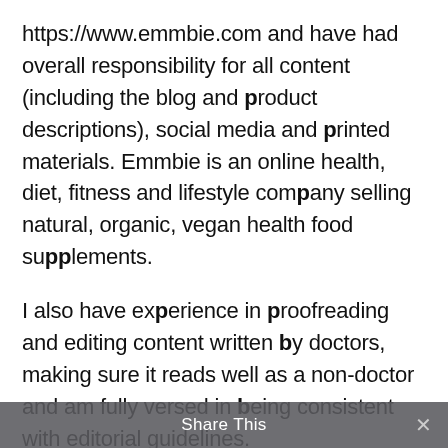https://www.emmbie.com and have had overall responsibility for all content (including the blog and product descriptions), social media and printed materials. Emmbie is an online health, diet, fitness and lifestyle company selling natural, organic, vegan health food supplements.
I also have experience in proofreading and editing content written by doctors, making sure it reads well as a non-doctor and am fully versed in being consistent with editorial guidelines.
I'm motivated and well organised for freelance working, my desk shares a space with a running machine, which often comes
Share This ✕